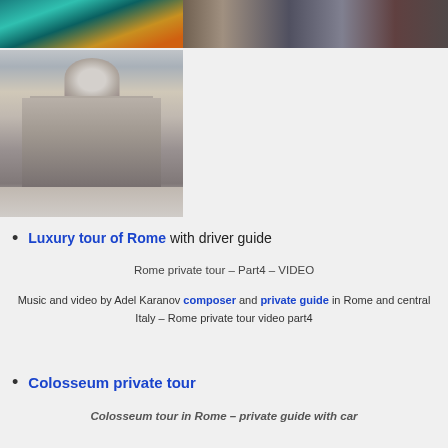[Figure (photo): Two photos side by side at top: left shows Trevi Fountain with turquoise water, right shows an interior hall with columns]
[Figure (photo): Photo of a classical domed Roman building (Tempietto or similar), seen from courtyard]
Luxury tour of Rome with driver guide
Rome private tour – Part4 – VIDEO
Music and video by Adel Karanov composer and private guide in Rome and central Italy – Rome private tour video part4
Colosseum private tour
Colosseum tour in Rome – private guide with car